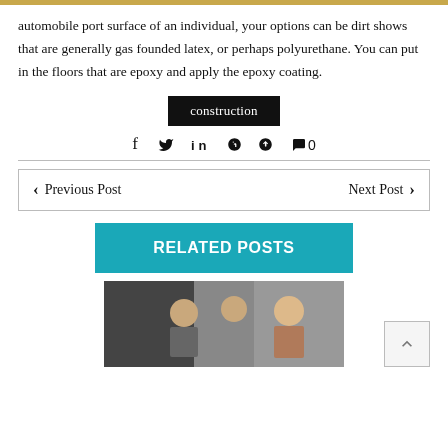automobile port surface of an individual, your options can be dirt shows that are generally gas founded latex, or perhaps polyurethane. You can put in the floors that are epoxy and apply the epoxy coating.
construction
f  𝕥  in  ℘  💬 0
◀ Previous Post    Next Post ▶
RELATED POSTS
[Figure (photo): Two women and a younger person looking at something, possibly in a garage or auto shop setting.]